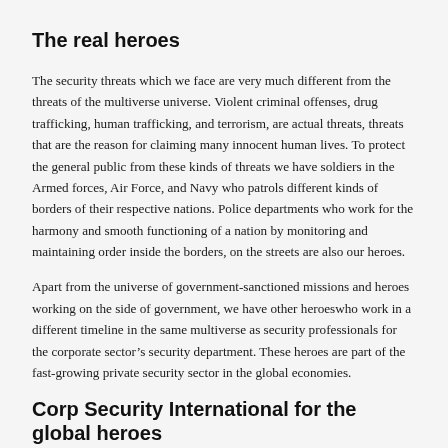The real heroes
The security threats which we face are very much different from the threats of the multiverse universe. Violent criminal offenses, drug trafficking, human trafficking, and terrorism, are actual threats, threats that are the reason for claiming many innocent human lives. To protect the general public from these kinds of threats we have soldiers in the Armed forces, Air Force, and Navy who patrols different kinds of borders of their respective nations. Police departments who work for the harmony and smooth functioning of a nation by monitoring and maintaining order inside the borders, on the streets are also our heroes.
Apart from the universe of government-sanctioned missions and heroes working on the side of government, we have other heroeswho work in a different timeline in the same multiverse as security professionals for the corporate sector’s security department. These heroes are part of the fast-growing private security sector in the global economies.
Corp Security International for the global heroes